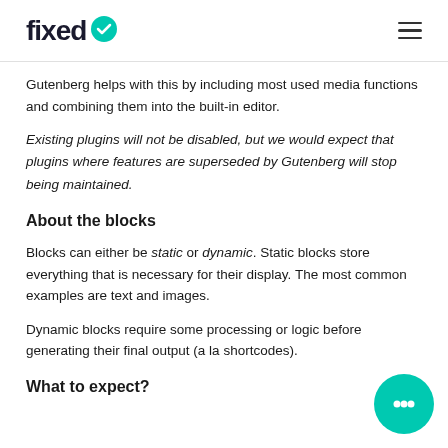fixed
Gutenberg helps with this by including most used media functions and combining them into the built-in editor.
Existing plugins will not be disabled, but we would expect that plugins where features are superseded by Gutenberg will stop being maintained.
About the blocks
Blocks can either be static or dynamic. Static blocks store everything that is necessary for their display. The most common examples are text and images.
Dynamic blocks require some processing or logic before generating their final output (a la shortcodes).
What to expect?